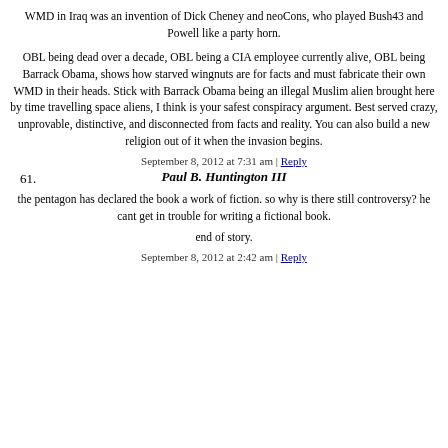WMD in Iraq was an invention of Dick Cheney and neoCons, who played Bush43 and Powell like a party horn.
OBL being dead over a decade, OBL being a CIA employee currently alive, OBL being Barrack Obama, shows how starved wingnuts are for facts and must fabricate their own WMD in their heads. Stick with Barrack Obama being an illegal Muslim alien brought here by time travelling space aliens, I think is your safest conspiracy argument. Best served crazy, unprovable, distinctive, and disconnected from facts and reality. You can also build a new religion out of it when the invasion begins.
September 8, 2012 at 7:31 am | Reply
61. Paul B. Huntington III
the pentagon has declared the book a work of fiction. so why is there still controversy? he cant get in trouble for writing a fictional book.
end of story.
September 8, 2012 at 2:42 am | Reply